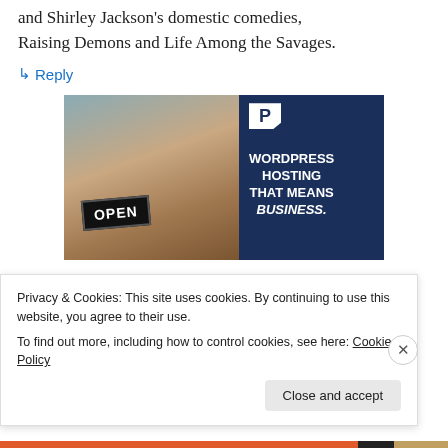and Shirley Jackson's domestic comedies, Raising Demons and Life Among the Savages.
↳ Reply
[Figure (photo): Advertisement image showing a smiling woman holding an 'OPEN' sign, next to dark blue panel with WordPress 'P' logo badge and text: WORDPRESS HOSTING THAT MEANS BUSINESS.]
Privacy & Cookies: This site uses cookies. By continuing to use this website, you agree to their use.
To find out more, including how to control cookies, see here: Cookie Policy
Close and accept